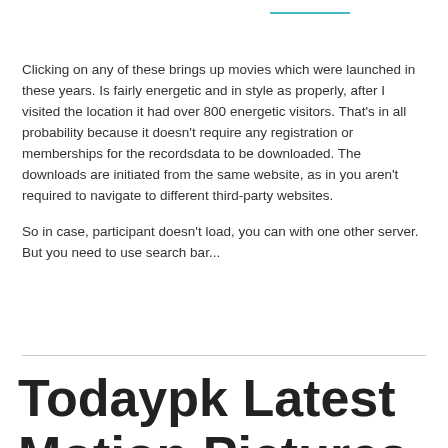Clicking on any of these brings up movies which were launched in these years. Is fairly energetic and in style as properly, after I visited the location it had over 800 energetic visitors. That's in all probability because it doesn't require any registration or memberships for the recordsdata to be downloaded. The downloads are initiated from the same website, as in you aren't required to navigate to different third-party websites.

So in case, participant doesn't load, you can with one other server. But you need to use search bar...
Todaypk Latest Motion Pictures